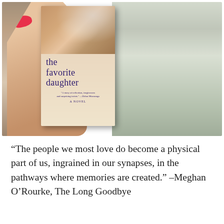[Figure (photo): A hand with red nail polish holding up a copy of 'the favorite daughter' novel. The book cover shows two figures with water splashing. The background is blurred green/grey outdoor scenery.]
“The people we most love do become a physical part of us, ingrained in our synapses, in the pathways where memories are created.” –Meghan O’Rourke, The Long Goodbye